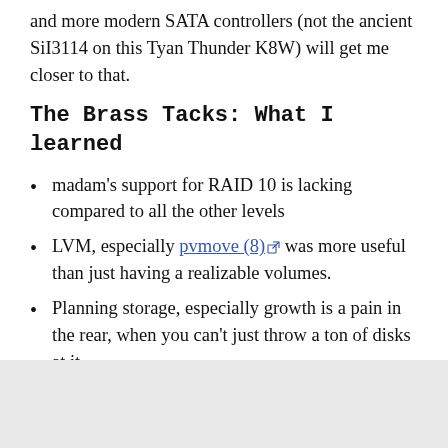and more modern SATA controllers (not the ancient SiI3114 on this Tyan Thunder K8W) will get me closer to that.
The Brass Tacks: What I learned
madam's support for RAID 10 is lacking compared to all the other levels
LVM, especially pvmove (8) was more useful than just having a realizable volumes.
Planning storage, especially growth is a pain in the rear, when you can't just throw a ton of disks at it